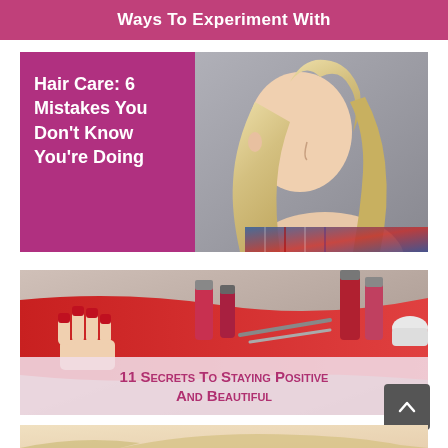Ways To Experiment With
[Figure (photo): Card with magenta left panel containing title text 'Hair Care: 6 Mistakes You Don't Know You're Doing' and right panel showing a blonde woman from behind with long straight hair wearing a plaid shirt]
[Figure (photo): Card showing a manicure scene with red-polished nails and nail polish bottles on a red surface, with an overlay text '11 Secrets To Staying Positive And Beautiful']
[Figure (photo): Partial card at bottom showing top of a person's head with blonde hair]